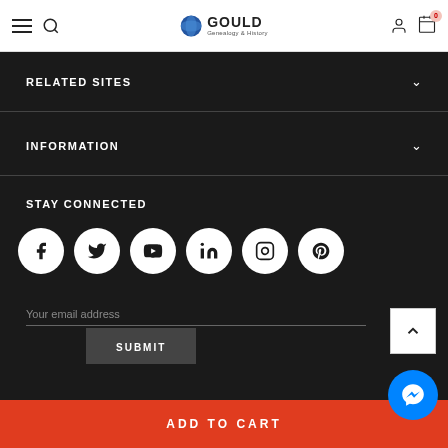Gould Genealogy & History
RELATED SITES
INFORMATION
STAY CONNECTED
[Figure (infographic): Row of 6 social media icon circles: Facebook, Twitter, YouTube, LinkedIn, Instagram, Pinterest]
Your email address
SUBMIT
ADD TO CART